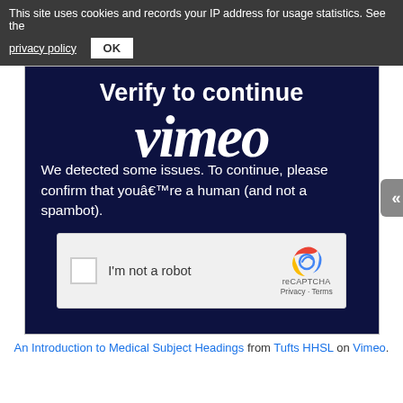This site uses cookies and records your IP address for usage statistics. See the privacy policy  OK
[Figure (screenshot): Vimeo embed showing a 'Verify to continue' CAPTCHA page. Dark navy blue background with large white bold text 'Verify to continue', overlaid 'vimeo' italic logo text in white, body text 'We detected some issues. To continue, please confirm that you’re a human (and not a spambot).' and a reCAPTCHA checkbox widget. A scroll-up button is visible on the right side.]
An Introduction to Medical Subject Headings from Tufts HHSL on Vimeo.